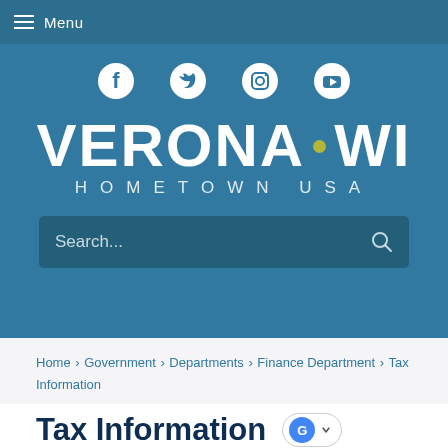Menu
[Figure (logo): Verona WI Hometown USA city logo with social media icons (Facebook, Twitter, Instagram, YouTube) and search bar on blue background]
Home › Government › Departments › Finance Department › Tax Information
Tax Information